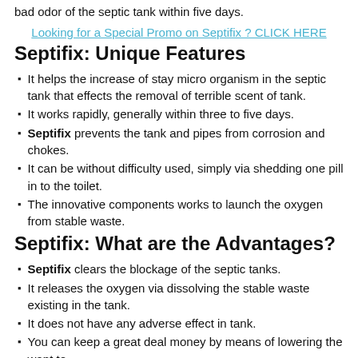bad odor of the septic tank within five days.
Looking for a Special Promo on Septifix ? CLICK HERE
Septifix: Unique Features
It helps the increase of stay micro organism in the septic tank that effects the removal of terrible scent of tank.
It works rapidly, generally within three to five days.
Septifix prevents the tank and pipes from corrosion and chokes.
It can be without difficulty used, simply via shedding one pill in to the toilet.
The innovative components works to launch the oxygen from stable waste.
Septifix: What are the Advantages?
Septifix clears the blockage of the septic tanks.
It releases the oxygen via dissolving the stable waste existing in the tank.
It does not have any adverse effect in tank.
You can keep a great deal money by means of lowering the want to